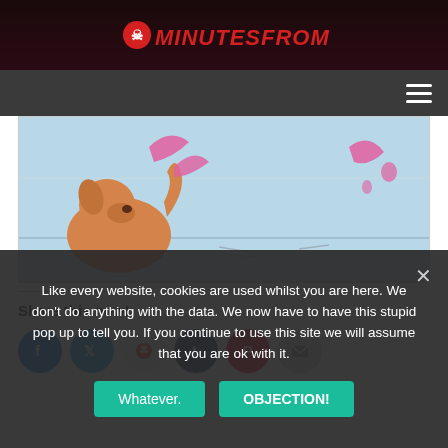10MinutesFromHell
[Figure (illustration): Comic panel showing a dog sitting with pink tentacle-like shapes on a light blue background floor/wall scene]
Share this now!
Like every website, cookies are used whilst you are here. We don't do anything with the data. We now have to have this stupid pop up to tell you. If you continue to use this site we will assume that you are ok with it.
Whatever.   OBJECTION!